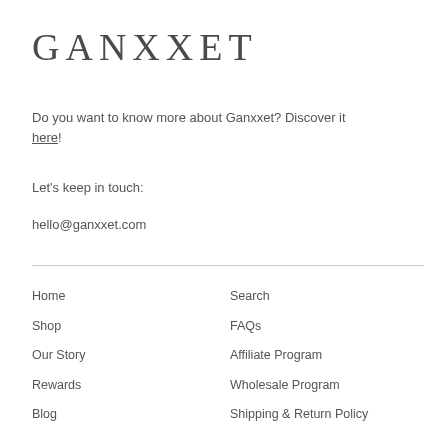GANXXET
Do you want to know more about Ganxxet? Discover it here!
Let's keep in touch:
hello@ganxxet.com
Home
Shop
Our Story
Rewards
Blog
Search
FAQs
Affiliate Program
Wholesale Program
Shipping & Return Policy